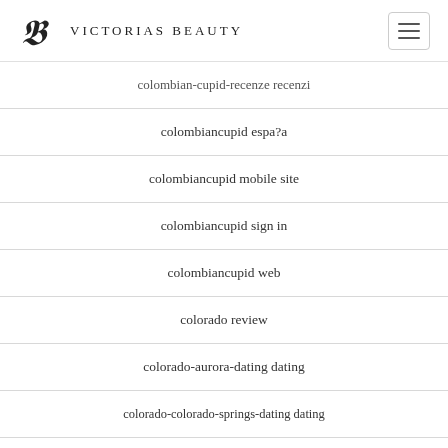Victorias Beauty
colombian-cupid-recenze recenzi
colombiancupid espa?a
colombiancupid mobile site
colombiancupid sign in
colombiancupid web
colorado review
colorado-aurora-dating dating
colorado-colorado-springs-dating dating
colorado-denver-dating mobile site